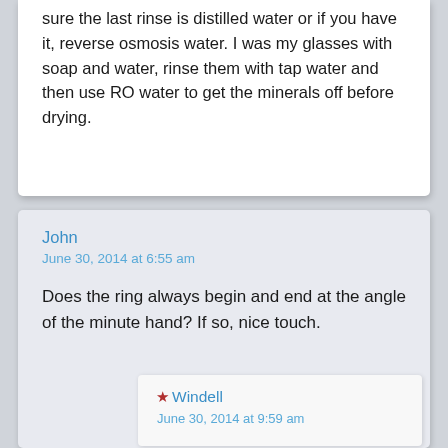sure the last rinse is distilled water or if you have it, reverse osmosis water. I was my glasses with soap and water, rinse them with tap water and then use RO water to get the minerals off before drying.
John
June 30, 2014 at 6:55 am
Does the ring always begin and end at the angle of the minute hand? If so, nice touch.
★ Windell
June 30, 2014 at 9:59 am